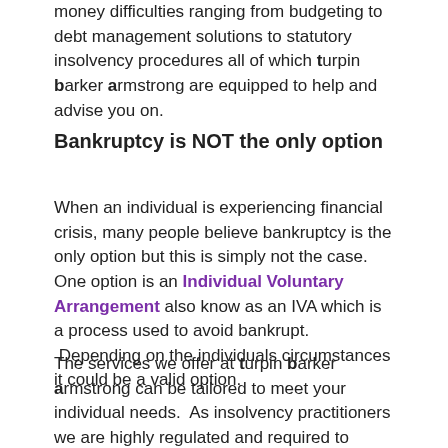money difficulties ranging from budgeting to debt management solutions to statutory insolvency procedures all of which turpin barker armstrong are equipped to help and advise you on.
Bankruptcy is NOT the only option
When an individual is experiencing financial crisis, many people believe bankruptcy is the only option but this is simply not the case. One option is an Individual Voluntary Arrangement also known as an IVA which is a process used to avoid bankruptcy. Depending on the individuals circumstances it could be a valid option.
The services we offer at turpin barker armstrong can be tailored to meet your individual needs. As insolvency practitioners we are highly regulated and required to ensure that debtors are well informed of